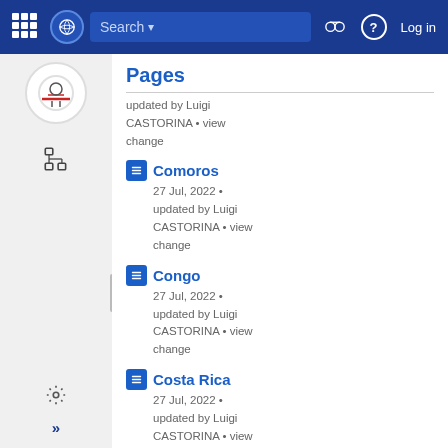Search  Log in
Pages
updated by Luigi CASTORINA • view change
Comoros
27 Jul, 2022 • updated by Luigi CASTORINA • view change
Congo
27 Jul, 2022 • updated by Luigi CASTORINA • view change
Costa Rica
27 Jul, 2022 • updated by Luigi CASTORINA • view change
Show More